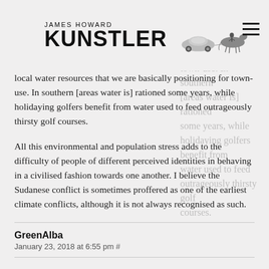JAMES HOWARD KUNSTLER
local water resources that we are basically positioning for town-use. In southern [areas water is] rationed some years, while holidaying golfers benefit from water used to feed outrageously thirsty golf courses.
All this environmental and population stress adds to the difficulty of people of different perceived identities in behaving in a civilised fashion towards one another. I believe the Sudanese conflict is sometimes proffered as one of the earliest climate conflicts, although it is not always recognised as such.
GreenAlba
January 23, 2018 at 6:55 pm #
I was replying to your earlier, longer post above, not your later reply to Janos.
Walter B
January 23, 2018 at 8:29 pm #